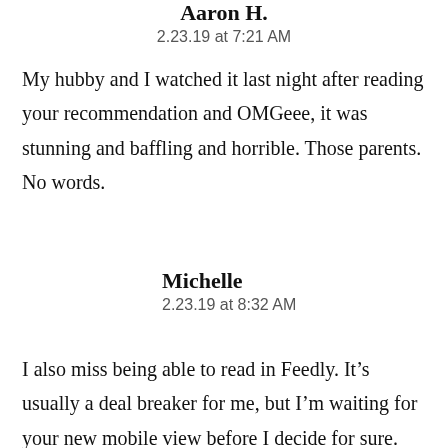Aaron H.
2.23.19 at 7:21 AM
My hubby and I watched it last night after reading your recommendation and OMGeee, it was stunning and baffling and horrible. Those parents. No words.
Michelle
2.23.19 at 8:32 AM
I also miss being able to read in Feedly. It’s usually a deal breaker for me, but I’m waiting for your new mobile view before I decide for sure. Right now the font is way too small and takes forever to